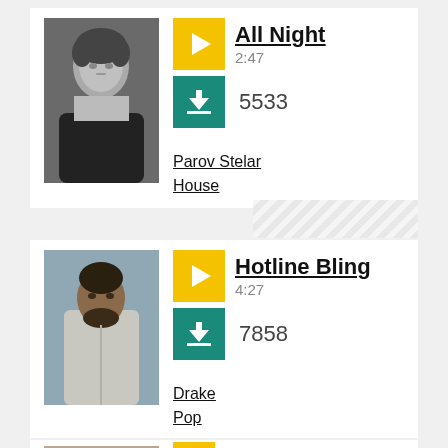[Figure (photo): Black and white photo of Parov Stelar, a man with slicked back hair wearing a dark shirt]
All Night
2:47
5533
Parov Stelar
House
[Figure (photo): Color photo of Drake, a man in a light grey jacket standing against a blue-grey wall]
Hotline Bling
4:27
7858
Drake
Pop
[Figure (photo): Partial color photo of a third artist]
Chandelier